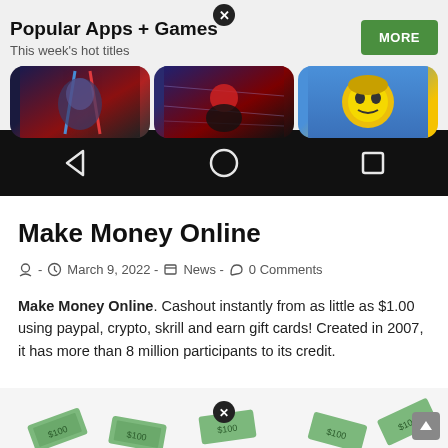[Figure (screenshot): Mobile app store advertisement showing 'Popular Apps + Games - This week's hot titles' with a MORE button and three game thumbnails, followed by Android navigation bar with back, home, and recents icons]
Make Money Online
- March 9, 2022 - News - 0 Comments
Make Money Online. Cashout instantly from as little as $1.00 using paypal, crypto, skrill and earn gift cards! Created in 2007, it has more than 8 million participants to its credit.
[Figure (photo): Partially visible image showing scattered dollar bills/money with a close button overlay, bottom of page]